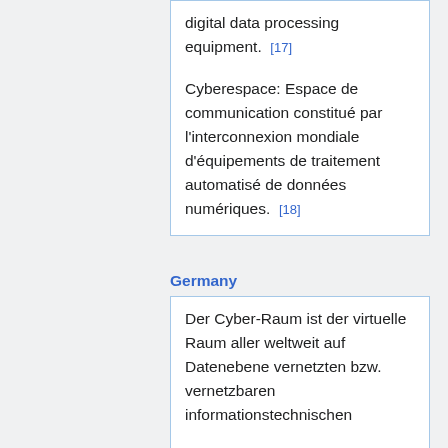digital data processing equipment. [17]

Cyberespace: Espace de communication constitué par l'interconnexion mondiale d'équipements de traitement automatisé de données numériques. [18]
Germany
Der Cyber-Raum ist der virtuelle Raum aller weltweit auf Datenebene vernetzten bzw. vernetzbaren informationstechnischen